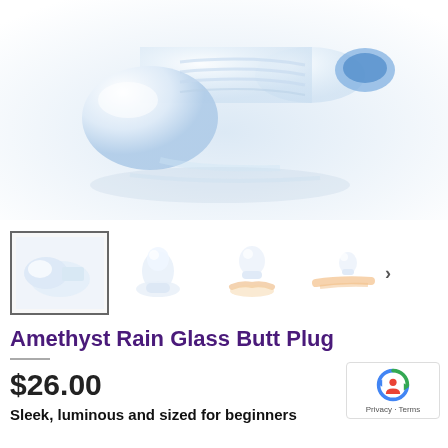[Figure (photo): Close-up product photo of a clear glass object on a white/light blue gradient background]
[Figure (photo): Row of four product thumbnail images showing a clear glass butt plug from different angles, with navigation arrow]
Amethyst Rain Glass Butt Plug
$26.00
Sleek, luminous and sized for beginners